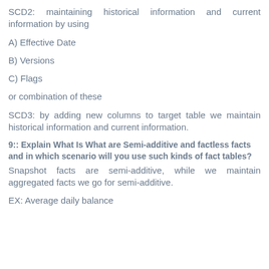SCD2: maintaining historical information and current information by using
A) Effective Date
B) Versions
C) Flags
or combination of these
SCD3: by adding new columns to target table we maintain historical information and current information.
9:: Explain What Is What are Semi-additive and factless facts and in which scenario will you use such kinds of fact tables?
Snapshot facts are semi-additive, while we maintain aggregated facts we go for semi-additive.
EX: Average daily balance